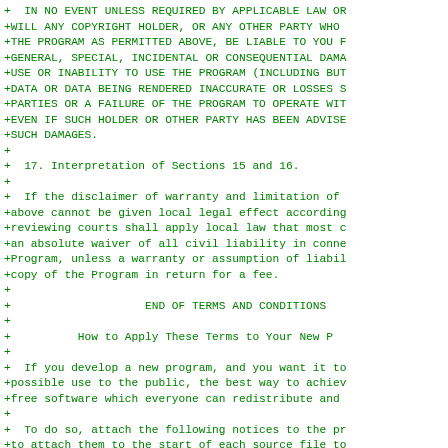+  IN NO EVENT UNLESS REQUIRED BY APPLICABLE LAW OR
+WILL ANY COPYRIGHT HOLDER, OR ANY OTHER PARTY WHO
+THE PROGRAM AS PERMITTED ABOVE, BE LIABLE TO YOU F
+GENERAL, SPECIAL, INCIDENTAL OR CONSEQUENTIAL DAMA
+USE OR INABILITY TO USE THE PROGRAM (INCLUDING BUT
+DATA OR DATA BEING RENDERED INACCURATE OR LOSSES S
+PARTIES OR A FAILURE OF THE PROGRAM TO OPERATE WIT
+EVEN IF SUCH HOLDER OR OTHER PARTY HAS BEEN ADVISE
+SUCH DAMAGES.
+
+  17. Interpretation of Sections 15 and 16.
+
+  If the disclaimer of warranty and limitation of
+above cannot be given local legal effect according
+reviewing courts shall apply local law that most c
+an absolute waiver of all civil liability in conne
+Program, unless a warranty or assumption of liabil
+copy of the Program in return for a fee.
+
+                    END OF TERMS AND CONDITIONS
+
+          How to Apply These Terms to Your New P
+
+  If you develop a new program, and you want it to
+possible use to the public, the best way to achiev
+free software which everyone can redistribute and
+
+  To do so, attach the following notices to the pr
+to attach them to the start of each source file to
+state the exclusion of warranty; and each file sho